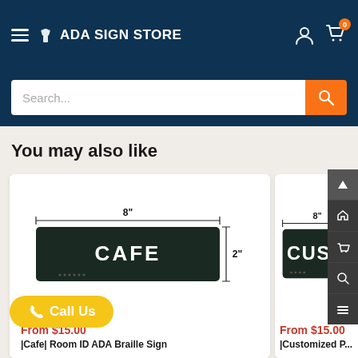ADA SIGN STORE
Search...
You may also like
[Figure (illustration): ADA Cafe Room ID Braille Sign diagram showing 8 inch width and 2 inch height dimensions with CAFE text on dark sign]
From $15.00
|Cafe| Room ID ADA Braille Sign
[Figure (illustration): Partially visible custom ADA sign with CUSTOM text, showing 8 inch width dimension]
From $15.00
|Customized P...